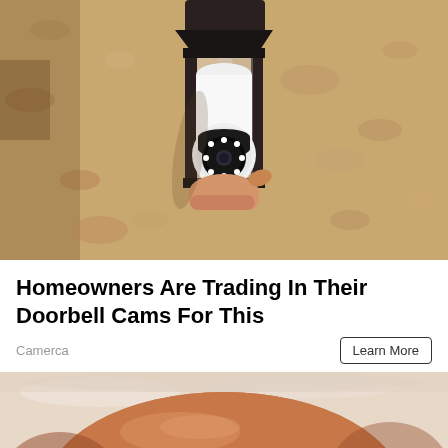[Figure (photo): A hand screwing in a light bulb security camera into an outdoor lantern-style wall fixture mounted on a textured stucco wall. The camera/bulb device has a circular lens with LED lights arranged in a ring.]
Homeowners Are Trading In Their Doorbell Cams For This
Camerca
Learn More
[Figure (photo): Partial view of a round orange/brown baked good or food item wrapped in plastic, cropped at bottom of page.]